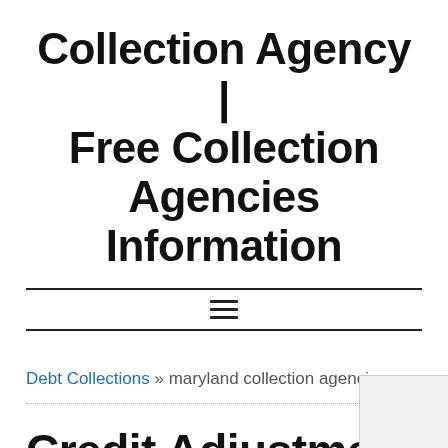Collection Agency | Free Collection Agencies Information
Debt Collections » maryland collection agencies
Credit Adjustment